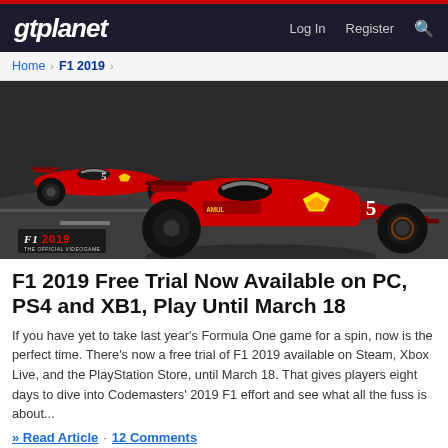gtplanet | Log In  Register
Home > F1 2019 >
[Figure (photo): F1 2019 game promotional image showing red Ferrari Formula One cars racing on a circuit, with the F1 2019 logo in the bottom-left corner]
F1 2019 Free Trial Now Available on PC, PS4 and XB1, Play Until March 18
If you have yet to take last year's Formula One game for a spin, now is the perfect time. There's now a free trial of F1 2019 available on Steam, Xbox Live, and the PlayStation Store, until March 18. That gives players eight days to dive into Codemasters' 2019 F1 effort and see what all the fuss is about...
» Read Article · 12 Comments
Andrew Evans